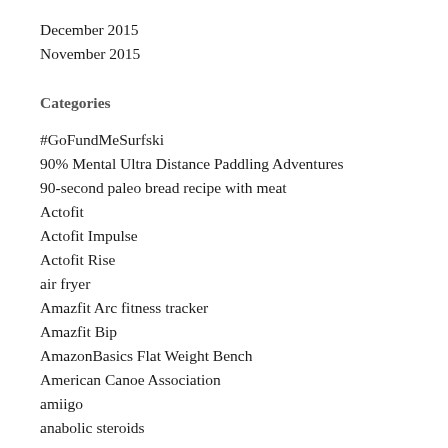December 2015
November 2015
Categories
#GoFundMeSurfski
90% Mental Ultra Distance Paddling Adventures
90-second paleo bread recipe with meat
Actofit
Actofit Impulse
Actofit Rise
air fryer
Amazfit Arc fitness tracker
Amazfit Bip
AmazonBasics Flat Weight Bench
American Canoe Association
amiigo
anabolic steroids